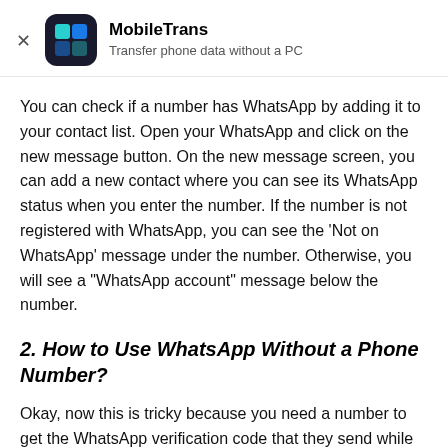MobileTrans — Transfer phone data without a PC
You can check if a number has WhatsApp by adding it to your contact list. Open your WhatsApp and click on the new message button. On the new message screen, you can add a new contact where you can see its WhatsApp status when you enter the number. If the number is not registered with WhatsApp, you can see the 'Not on WhatsApp' message under the number. Otherwise, you will see a "WhatsApp account" message below the number.
2. How to Use WhatsApp Without a Phone Number?
Okay, now this is tricky because you need a number to get the WhatsApp verification code that they send while registering your account. So, what is my WhatsApp number if I use it without a phone number? Some give details about this topic in